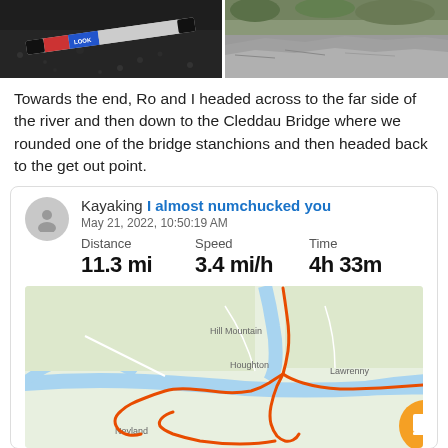[Figure (photo): Two photos side by side: left shows a kayak paddle/pen on dark ground, right shows rocky terrain with greenery]
Towards the end, Ro and I headed across to the far side of the river and then down to the Cleddau Bridge where we rounded one of the bridge stanchions and then headed back to the get out point.
[Figure (screenshot): Activity card showing Kayaking activity titled 'I almost numchucked you', dated May 21, 2022, 10:50:19 AM, with Distance: 11.3 mi, Speed: 3.4 mi/h, Time: 4h 33m, and a map showing the kayak route around Neyland, Houghton, Hill Mountain, and Lawrenny area with an orange route line]